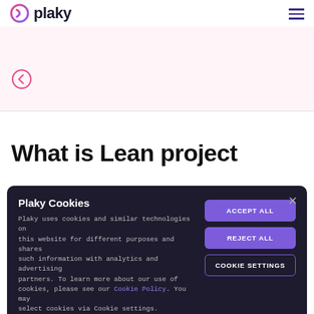plaky
[Figure (other): Pink/light background banner with a back arrow (circle with left arrow) on the left]
What is Lean project
Plaky Cookies
Plaky uses cookies and similar technologies on this website for different purposes and shares such information with analytics and advertising partners. To learn more about our use of cookies, please see our Cookie Policy. You may select cookies via Cookie settings.
ACCEPT ALL
REJECT ALL
COOKIE SETTINGS